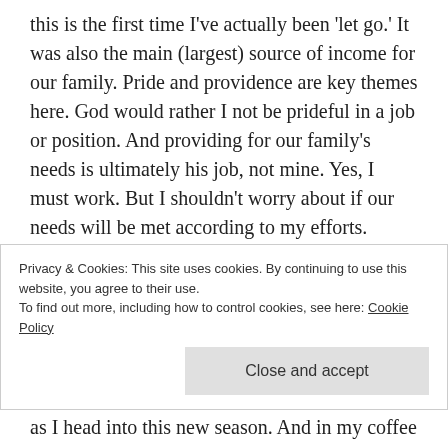this is the first time I've actually been 'let go.' It was also the main (largest) source of income for our family. Pride and providence are key themes here. God would rather I not be prideful in a job or position. And providing for our family's needs is ultimately his job, not mine. Yes, I must work. But I shouldn't worry about if our needs will be met according to my efforts.

Now, I also co-pastor a Missional Community (a faith family) with my amazing wife in Yakima, WA. And I work very part-time at a local grocery
Privacy & Cookies: This site uses cookies. By continuing to use this website, you agree to their use.
To find out more, including how to control cookies, see here: Cookie Policy
as I head into this new season. And in my coffee